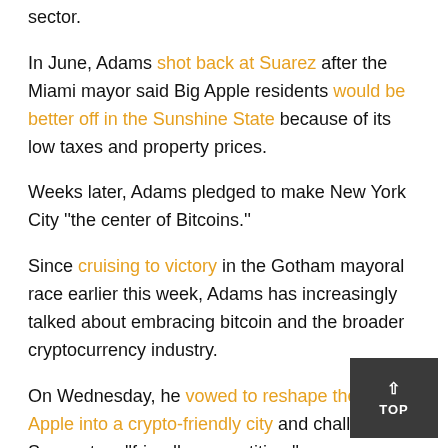sector.
In June, Adams shot back at Suarez after the Miami mayor said Big Apple residents would be better off in the Sunshine State because of its low taxes and property prices.
Weeks later, Adams pledged to make New York City ''the center of Bitcoins.''
Since cruising to victory in the Gotham mayoral race earlier this week, Adams has increasingly talked about embracing bitcoin and the broader cryptocurrency industry.
On Wednesday, he vowed to reshape the Big Apple into a crypto-friendly city and challenged Suarez to a ''friendly competition.''
''He has a MiamiCoin that is doing very well — we're going to look in the direction to carry that out,'' Adams said Wednesday in